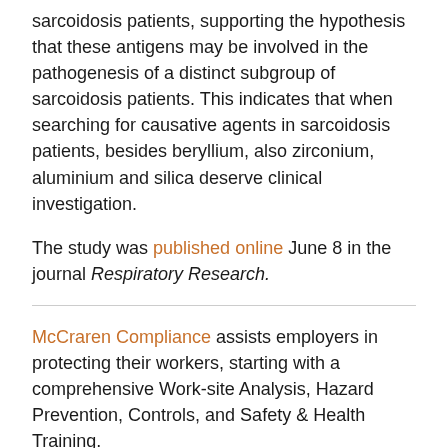sarcoidosis patients, supporting the hypothesis that these antigens may be involved in the pathogenesis of a distinct subgroup of sarcoidosis patients. This indicates that when searching for causative agents in sarcoidosis patients, besides beryllium, also zirconium, aluminium and silica deserve clinical investigation.
The study was published online June 8 in the journal Respiratory Research.
McCraren Compliance assists employers in protecting their workers, starting with a comprehensive Work-site Analysis, Hazard Prevention, Controls, and Safety & Health Training.
Posted in General News   Tagged #beryllium, #construction, #disease, #sarcoidosis, #silica, #workplaceexposures